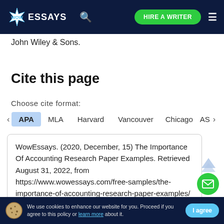WOW ESSAYS | HIRE A WRITER
John Wiley & Sons.
Cite this page
Choose cite format:
APA  MLA  Harvard  Vancouver  Chicago  AS
WowEssays. (2020, December, 15) The Importance Of Accounting Research Paper Examples. Retrieved August 31, 2022, from https://www.wowessays.com/free-samples/the-importance-of-accounting-research-paper-examples/
We use cookies to enhance our website for you. Proceed if you agree to this policy or learn more about it. I agree